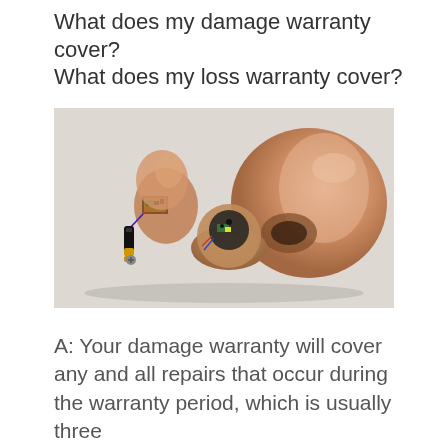What does my damage warranty cover? What does my loss warranty cover?
[Figure (photo): Disassembled hearing aids showing internal electronic components and shells/casings on a light background]
A: Your damage warranty will cover any and all repairs that occur during the warranty period, which is usually three